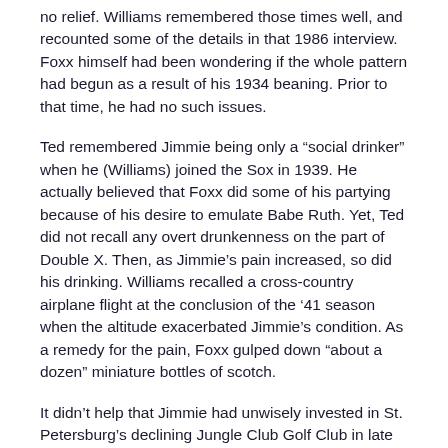no relief. Williams remembered those times well, and recounted some of the details in that 1986 interview. Foxx himself had been wondering if the whole pattern had begun as a result of his 1934 beaning. Prior to that time, he had no such issues.
Ted remembered Jimmie being only a “social drinker” when he (Williams) joined the Sox in 1939. He actually believed that Foxx did some of his partying because of his desire to emulate Babe Ruth. Yet, Ted did not recall any overt drunkenness on the part of Double X. Then, as Jimmie’s pain increased, so did his drinking. Williams recalled a cross-country airplane flight at the conclusion of the ’41 season when the altitude exacerbated Jimmie’s condition. As a remedy for the pain, Foxx gulped down “about a dozen” miniature bottles of scotch.
It didn’t help that Jimmie had unwisely invested in St. Petersburg’s declining Jungle Club Golf Club in late 1939. Florida’s Gulf Coast was experiencing a downward real estate spiral at the time, and Foxx had been duped into the ill-advised venture. Since Foxx loved playing golf in Florida, he had been an easy mark